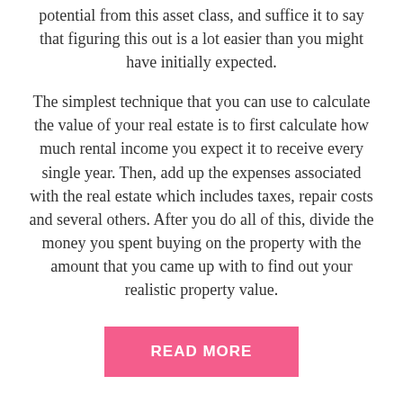potential from this asset class, and suffice it to say that figuring this out is a lot easier than you might have initially expected.
The simplest technique that you can use to calculate the value of your real estate is to first calculate how much rental income you expect it to receive every single year. Then, add up the expenses associated with the real estate which includes taxes, repair costs and several others. After you do all of this, divide the money you spent buying on the property with the amount that you came up with to find out your realistic property value.
READ MORE